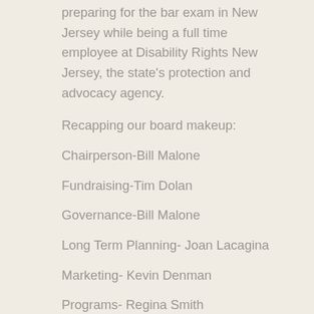preparing for the bar exam in New Jersey while being a full time employee at Disability Rights New Jersey, the state's protection and advocacy agency.
Recapping our board makeup:
Chairperson-Bill Malone
Fundraising-Tim Dolan
Governance-Bill Malone
Long Term Planning- Joan Lacagina
Marketing- Kevin Denman
Programs- Regina Smith